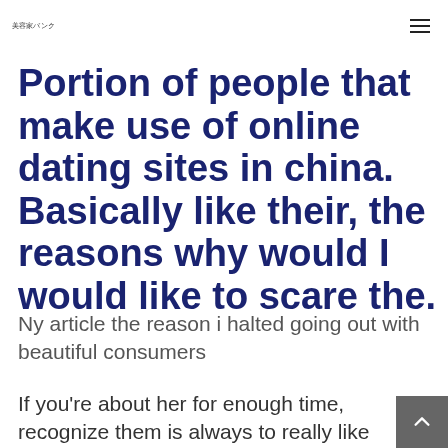美容家バンク
Portion of people that make use of online dating sites in china. Basically like their, the reasons why would I would like to scare the.
Ny article the reason i halted going out with beautiful consumers
If you're about her for enough time, recognize them is always to really like dating a woman that is sensitive The ex shore dating online texting approaches